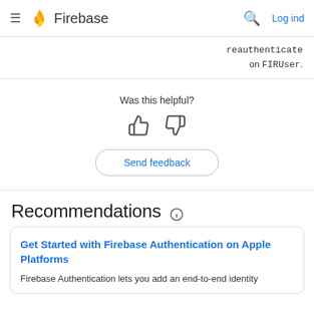Firebase — Log ind
reauthenticate on FIRUser.
Was this helpful?
Send feedback
Recommendations
Get Started with Firebase Authentication on Apple Platforms
Firebase Authentication lets you add an end-to-end identity